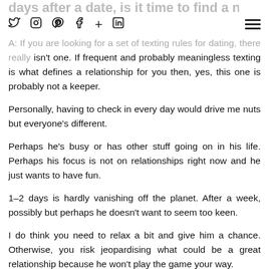days after a date, is it time to find a new man?
Twitter Instagram Pinterest Facebook + LinkedIn [menu]
A: If you are looking for a set of texting rules for dating, there really isn't one. If frequent and probably meaningless texting is what defines a relationship for you then, yes, this one is probably not a keeper.
Personally, having to check in every day would drive me nuts but everyone's different.
Perhaps he's busy or has other stuff going on in his life. Perhaps his focus is not on relationships right now and he just wants to have fun.
1–2 days is hardly vanishing off the planet. After a week, possibly but perhaps he doesn't want to seem too keen.
I do think you need to relax a bit and give him a chance. Otherwise, you risk jeopardising what could be a great relationship because he won't play the game your way.
Why not try to find a man you can really trust so that you don't feel